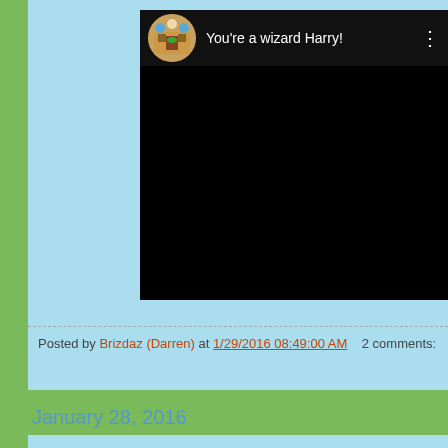[Figure (screenshot): Embedded video player with dark background, showing channel avatar (illustrated house/castle icon) and title 'You're a wizard Harry!' with a three-dot menu icon on the right, on a dark header bar above a black video area.]
Posted by Brizdaz (Darren) at 1/29/2016 08:49:00 AM   2 comments:
January 28, 2016